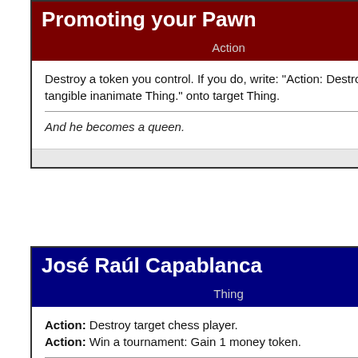Promoting your Pawn
Action
Destroy a token you control. If you do, write: "Action: Destroy target tangible inanimate Thing." onto target Thing.
And he becomes a queen.
Card by Zi
José Raúl Capablanca
Thing
Action: Destroy target chess player.
Action: Win a tournament: Gain 1 money token.
The master. The one and only.